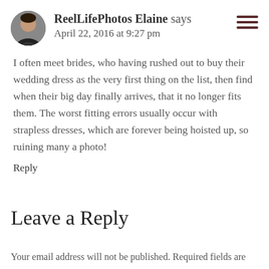ReelLifePhotos Elaine says
April 22, 2016 at 9:27 pm
I often meet brides, who having rushed out to buy their wedding dress as the very first thing on the list, then find when their big day finally arrives, that it no longer fits them. The worst fitting errors usually occur with strapless dresses, which are forever being hoisted up, so ruining many a photo!
Reply
Leave a Reply
Your email address will not be published. Required fields are